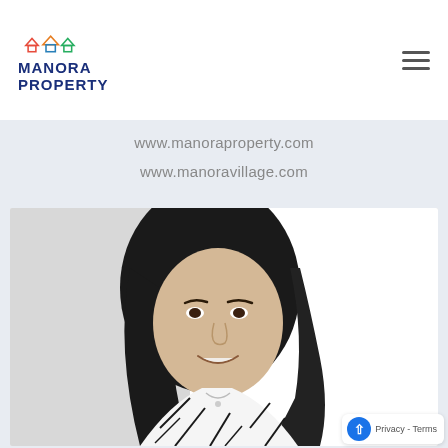[Figure (logo): Manora Property logo with colorful house icons above the text MANORA PROPERTY in dark blue]
www.manoraproperty.com
www.manoravillage.com
[Figure (photo): Black and white portrait photo of a smiling woman with long dark hair wearing a patterned blouse]
Privacy - Terms